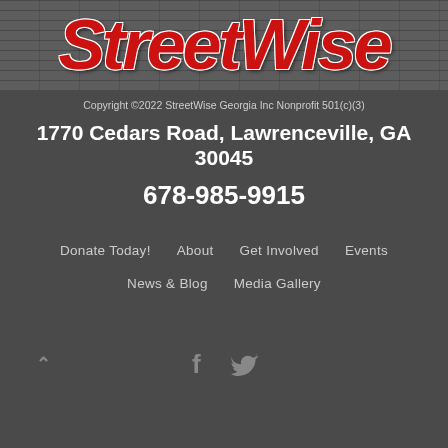[Figure (logo): StreetWise logo in red grunge italic font on a textured gray banner background]
Copyright ©2022 StreetWise Georgia Inc Nonprofit 501(c)(3)
1770 Cedars Road, Lawrenceville, GA 30045
678-985-9915
Donate Today!
About
Get Involved
Events
News & Blog
Media Gallery
[Figure (illustration): Facebook and Twitter social media icons in gray, with a back-to-top caret arrow on the left]